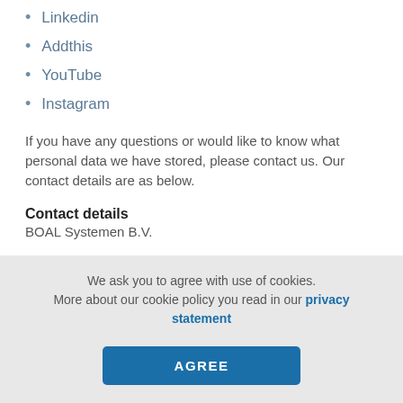Linkedin
Addthis
YouTube
Instagram
If you have any questions or would like to know what personal data we have stored, please contact us. Our contact details are as below.
Contact details
BOAL Systemen B.V.
We ask you to agree with use of cookies. More about our cookie policy you read in our privacy statement
AGREE